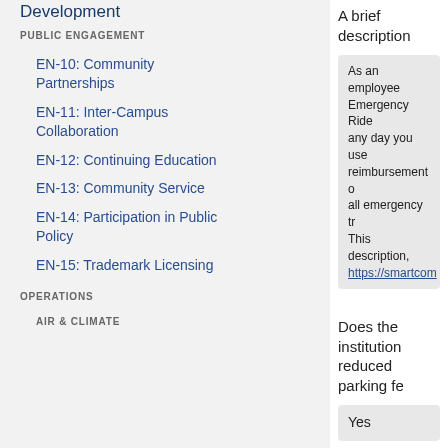Development
PUBLIC ENGAGEMENT
EN-10: Community Partnerships
EN-11: Inter-Campus Collaboration
EN-12: Continuing Education
EN-13: Community Service
EN-14: Participation in Public Policy
EN-15: Trademark Licensing
OPERATIONS
AIR & CLIMATE
A brief description
As an employee Emergency Ride any day you use reimbursement o all emergency tr This description, https://smartcom
Does the institution reduced parking fe
Yes
A brief description
Seneca participa employees find a